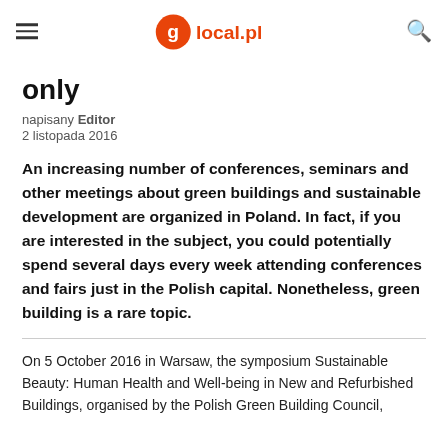golocal.pl
only
napisany Editor
2 listopada 2016
An increasing number of conferences, seminars and other meetings about green buildings and sustainable development are organized in Poland. In fact, if you are interested in the subject, you could potentially spend several days every week attending conferences and fairs just in the Polish capital. Nonetheless, green building is a rare topic.
On 5 October 2016 in Warsaw, the symposium Sustainable Beauty: Human Health and Well-being in New and Refurbished Buildings, organised by the Polish Green Building Council,